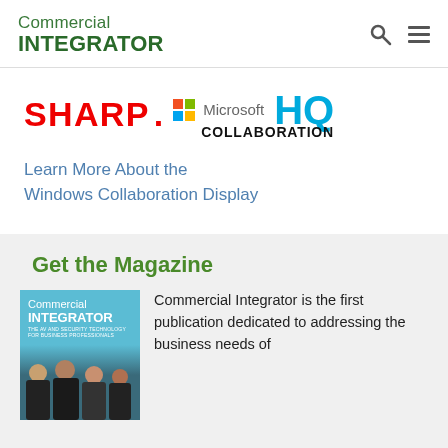Commercial Integrator
[Figure (logo): Sharp Microsoft HQ Collaboration logo]
Learn More About the Windows Collaboration Display
Get the Magazine
[Figure (photo): Commercial Integrator magazine cover showing three people]
Commercial Integrator is the first publication dedicated to addressing the business needs of